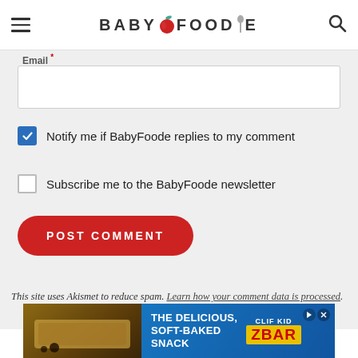[Figure (logo): BabyFoodie logo with hamburger menu and search icon in header]
Email *
[Figure (screenshot): Email input text field (empty)]
Notify me if BabyFoode replies to my comment (checked checkbox)
Subscribe me to the BabyFoode newsletter (unchecked checkbox)
[Figure (screenshot): POST COMMENT button (red, rounded)]
This site uses Akismet to reduce spam. Learn how your comment data is processed.
[Figure (infographic): Advertisement banner: THE DELICIOUS, SOFT-BAKED SNACK - ZBAR by Clif Kid]